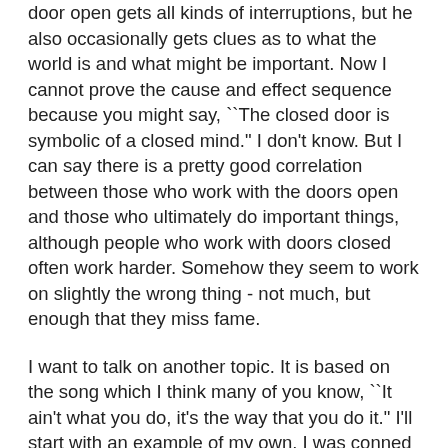door open gets all kinds of interruptions, but he also occasionally gets clues as to what the world is and what might be important. Now I cannot prove the cause and effect sequence because you might say, ``The closed door is symbolic of a closed mind." I don't know. But I can say there is a pretty good correlation between those who work with the doors open and those who ultimately do important things, although people who work with doors closed often work harder. Somehow they seem to work on slightly the wrong thing - not much, but enough that they miss fame.
I want to talk on another topic. It is based on the song which I think many of you know, ``It ain't what you do, it's the way that you do it." I'll start with an example of my own. I was conned into doing on a digital computer, in the absolute binary days, a problem which the best analog computers couldn't do. And I was getting an answer. When I thought carefully and said to myself, ``You know, Hamming, you're going to have to file a report on this military job; after you spend a lot of money you're going to